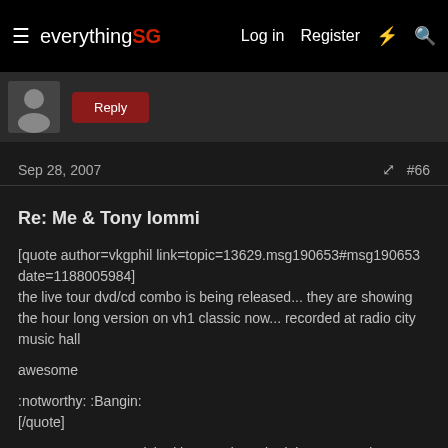everything SG — Log in  Register
[Figure (screenshot): Avatar image and a red button on dark background strip]
Sep 28, 2007   #66
Re: Me & Tony Iommi
[quote author=vkgphil link=topic=13629.msg190653#msg190653 date=1188005984]
the live tour dvd/cd combo is being released... they are showing the hour long version on vh1 classic now... recorded at radio city music hall

awesome

:notworthy: :Bangin:
[/quote]
GREAT DVD, Just picked it up and cranked the Surround